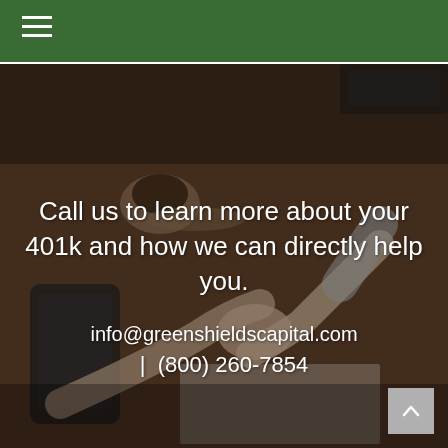≡
[Figure (photo): Overhead view of a business meeting scene — two people shaking hands over a wooden table with a coffee cup, smartphone, and documents visible]
Call us to learn more about your 401k and how we can directly help you.
info@greenshieldscapital.com  |  (800) 260-7854